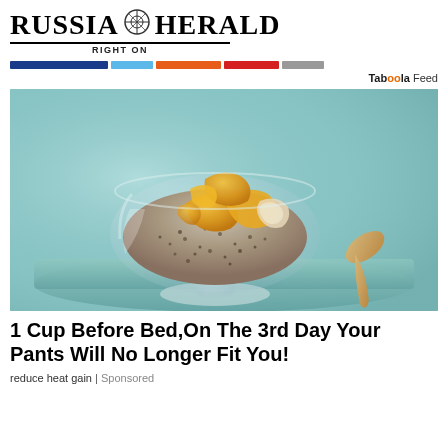RUSSIA HERALD — RIGHT ON
[Figure (infographic): Color navigation bars: dark blue, light blue, orange, red, gray]
Taboola Feed
[Figure (photo): A glass dessert bowl filled with chia pudding topped with mango pieces, placed on a teal tray with a spoon beside it]
1 Cup Before Bed,On The 3rd Day Your Pants Will No Longer Fit You!
reduce heat gain | Sponsored